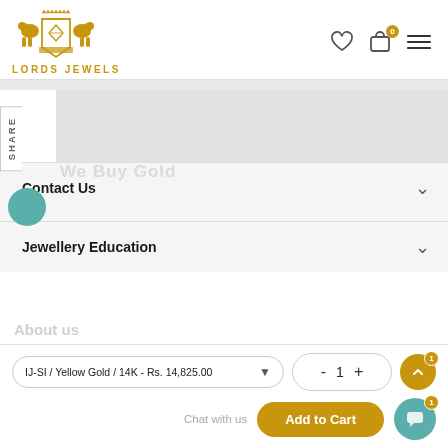[Figure (logo): Lords Jewels heraldic logo with two golden lions flanking a shield with a diamond, crown on top]
Lords Jewels
Contact Us
Jewellery Education
IJ-SI / Yellow Gold / 14K - Rs. 14,825.00
- 1 +
Add to Cart
Chat with us
About us